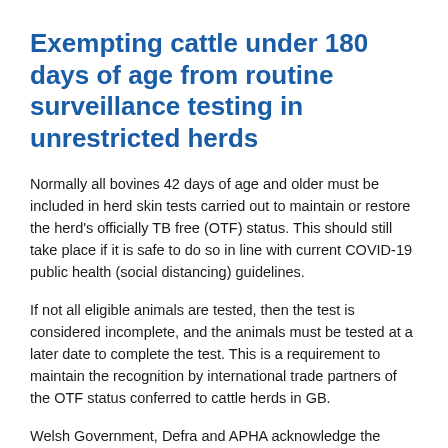Exempting cattle under 180 days of age from routine surveillance testing in unrestricted herds
Normally all bovines 42 days of age and older must be included in herd skin tests carried out to maintain or restore the herd's officially TB free (OTF) status. This should still take place if it is safe to do so in line with current COVID-19 public health (social distancing) guidelines.
If not all eligible animals are tested, then the test is considered incomplete, and the animals must be tested at a later date to complete the test. This is a requirement to maintain the recognition by international trade partners of the OTF status conferred to cattle herds in GB.
Welsh Government, Defra and APHA acknowledge the practical difficulties of conducting the tuberculin skin test in youngstock while maintaining the recommended two-metre minimum separation between farmer and tester. The